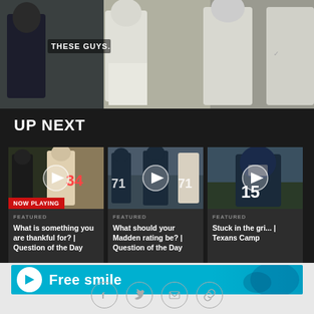[Figure (screenshot): Top portion of a sports video page showing football players in white uniforms with text overlay 'THESE GUYS.' on dark background]
UP NEXT
[Figure (screenshot): Video thumbnail showing football players, labeled NOW PLAYING, with FEATURED tag and title: What is something you are thankful for? | Question of the Day]
[Figure (screenshot): Video thumbnail showing players with #71 jerseys, FEATURED tag and title: What should your Madden rating be? | Question of the Day]
[Figure (screenshot): Video thumbnail showing player with helmet #15, FEATURED tag and partial title: Stuck in the gri... | Texans Camp]
[Figure (screenshot): Advertisement banner: Free smile with play icon on cyan/teal background]
[Figure (infographic): Social share icons row: Facebook, Twitter, Email, Link]